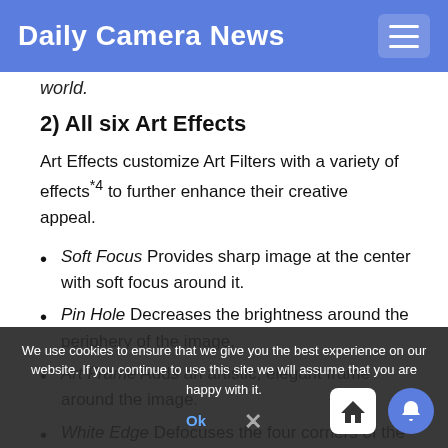Daily Camera News
world.
2) All six Art Effects
Art Effects customize Art Filters with a variety of effects*4 to further enhance their creative appeal.
Soft Focus Provides sharp image at the center with soft focus around it.
Pin Hole Decreases the brightness around the periphery of the image.
Art Frame Adds an artistic, elegant frame around the image.
White Edge Defocuses the four corners of the image and washes them out in white.
Starlight Produces an effective trace of light in night scenes and similar images.